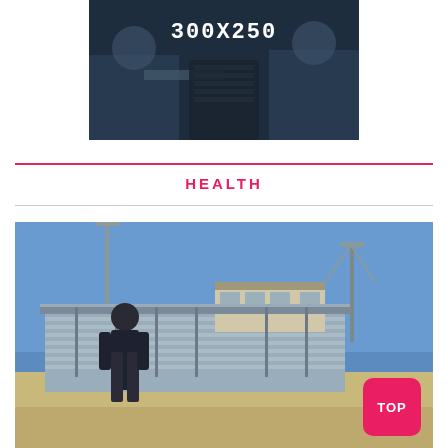[Figure (photo): Advertisement placeholder image showing two people sitting at a desk, dark blue toned photo with '300X250' text overlay in white monospace font]
HEALTH
[Figure (photo): Outdoor stadium photo showing a man in a dark sleeveless shirt standing on a track with stadium bleachers and light poles in the background under a clear blue sky. A pink 'TOP' button is overlaid in the bottom right corner.]